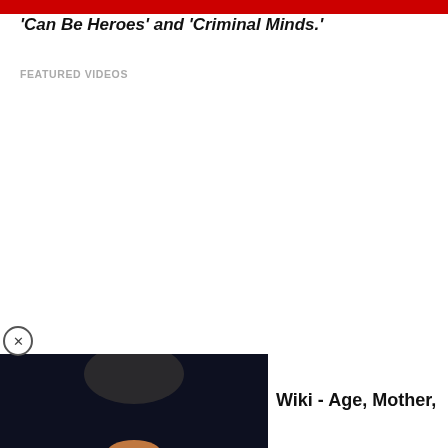Can Be Heroes' and 'Criminal Minds.'
FEATURED VIDEOS
[Figure (photo): Video thumbnail showing a performer in a white tuxedo with glasses seated at a piano, with a circular play button overlay. A close (X) button appears in the top-left corner of the thumbnail area.]
Wiki - Age, Mother,
Isaiah Russell-Bailey was born on December 9, 2006, and as of the writing of this article, is 15-years-of age in